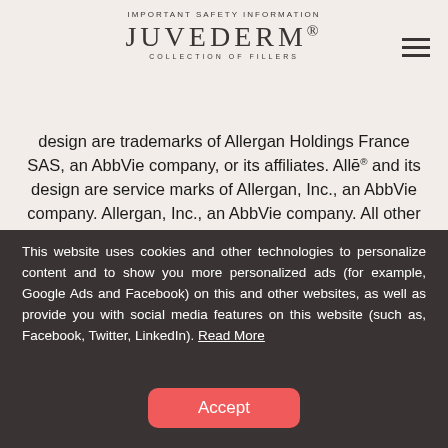IMPORTANT SAFETY INFORMATION
JUVÉDERM® COLLECTION OF FILLERS
design are trademarks of Allergan Holdings France SAS, an AbbVie company, or its affiliates. Allē® and its design are service marks of Allergan, Inc., an AbbVie company. Allergan, Inc., an AbbVie company. All other trademarks are the property of their respective owners. JUV105480-v16 07/22
This website uses cookies and other technologies to personalize content and to show you more personalized ads (for example, Google Ads and Facebook) on this and other websites, as well as provide you with social media features on this website (such as, Facebook, Twitter, LinkedIn). Read More
Accept